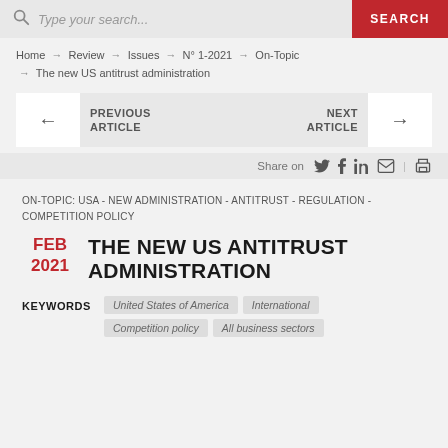Type your search... SEARCH
Home → Review → Issues → N° 1-2021 → On-Topic → The new US antitrust administration
← PREVIOUS ARTICLE   NEXT ARTICLE →
Share on
ON-TOPIC: USA - NEW ADMINISTRATION - ANTITRUST - REGULATION - COMPETITION POLICY
THE NEW US ANTITRUST ADMINISTRATION
FEB 2021
KEYWORDS   United States of America   International   Competition policy   All business sectors